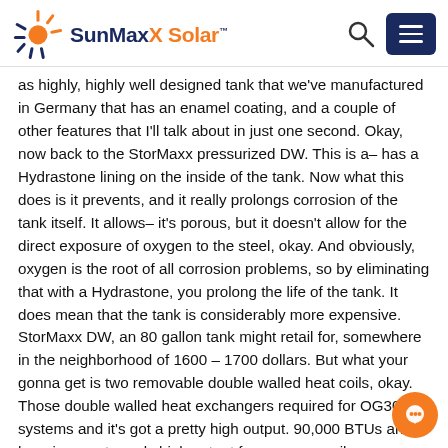SunMaxX Solar
as highly, highly well designed tank that we've manufactured in Germany that has an enamel coating, and a couple of other features that I'll talk about in just one second. Okay, now back to the StorMaxx pressurized DW. This is a– has a Hydrastone lining on the inside of the tank. Now what this does is it prevents, and it really prolongs corrosion of the tank itself. It allows– it's porous, but it doesn't allow for the direct exposure of oxygen to the steel, okay. And obviously, oxygen is the root of all corrosion problems, so by eliminating that with a Hydrastone, you prolong the life of the tank. It does mean that the tank is considerably more expensive. StorMaxx DW, an 80 gallon tank might retail for, somewhere in the neighborhood of 1600 – 1700 dollars. But what your gonna get is two removable double walled heat coils, okay. Those double walled heat exchangers required for OG300 systems and it's got a pretty high output. 90,000 BTUs an hour is an extremely high output for a copper coil– a submerged copper coil. Another feature is that it's removable, so if the coil needs to be serviced or replaced, it can very easily removed, and additionally, there an existing 5000 watt heating element. So this StorMaxx DW